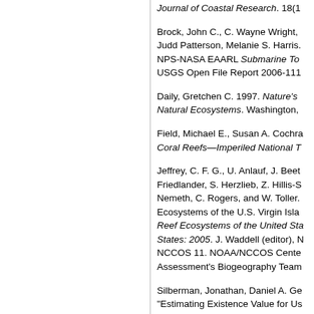Journal of Coastal Research. 18(1...
Brock, John C., C. Wayne Wright, Judd Patterson, Melanie S. Harris. NPS-NASA EAARL Submarine To... USGS Open File Report 2006-111...
Daily, Gretchen C. 1997. Nature's Natural Ecosystems. Washington,...
Field, Michael E., Susan A. Cochra... Coral Reefs—Imperiled National T...
Jeffrey, C. F. G., U. Anlauf, J. Beet... Friedlander, S. Herzlieb, Z. Hillis-S... Nemeth, C. Rogers, and W. Toller. Ecosystems of the U.S. Virgin Isla... Reef Ecosystems of the United Sta... States: 2005. J. Waddell (editor), N... NCCOS 11. NOAA/NCCOS Cente... Assessment's Biogeography Team...
Silberman, Jonathan, Daniel A. Ge... "Estimating Existence Value for Us... Beaches," Land Economics. 68(2)...